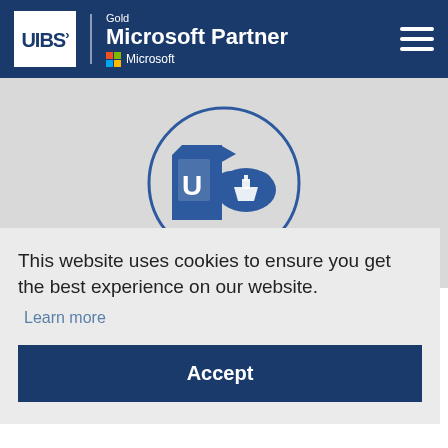[Figure (logo): UIBS Gold Microsoft Partner header logo with hamburger menu]
[Figure (illustration): Circular icon with UIBS logo and cloud/ship symbol on gray background]
This website uses cookies to ensure you get the best experience on our website.
Learn more
Accept